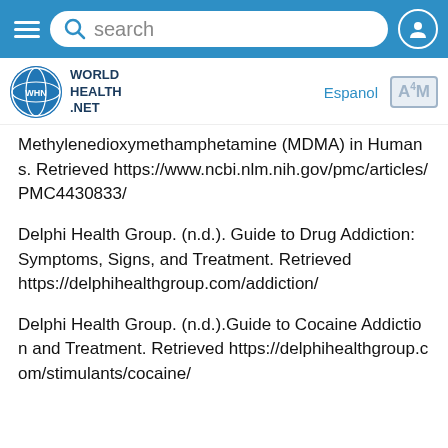[Figure (screenshot): Website header with blue search bar containing hamburger menu, search input, and user icon]
[Figure (logo): World Health Net logo with globe icon and WHN initials, Espanol link, and A4M logo box]
Methylenedioxymethamphetamine (MDMA) in Humans. Retrieved https://www.ncbi.nlm.nih.gov/pmc/articles/PMC4430833/
Delphi Health Group. (n.d.). Guide to Drug Addiction: Symptoms, Signs, and Treatment. Retrieved https://delphihealthgroup.com/addiction/
Delphi Health Group. (n.d.).Guide to Cocaine Addiction and Treatment. Retrieved https://delphihealthgroup.com/stimulants/cocaine/